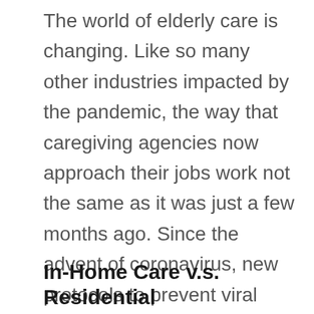The world of elderly care is changing. Like so many other industries impacted by the pandemic, the way that caregiving agencies now approach their jobs work not the same as it was just a few months ago. Since the advent of coronavirus, new protocols to prevent viral spread have influenced nearly every aspect of caregiving work. With social distancing, the use of PPEs, and heightened disinfecting practices, providing often hands-on care certainly has its obstacles.
In-Home Care v.s. Residential